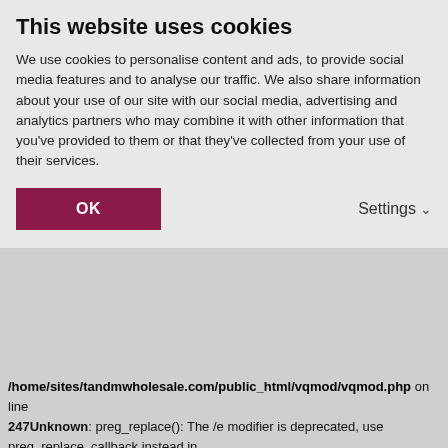This website uses cookies
We use cookies to personalise content and ads, to provide social media features and to analyse our traffic. We also share information about your use of our site with our social media, advertising and analytics partners who may combine it with other information that you've provided to them or that they've collected from your use of their services.
OK   Settings
/home/sites/tandmwholesale.com/public_html/vqmod/vqmod.php on line 247Unknown: preg_replace(): The /e modifier is deprecated, use preg_replace_callback instead in /home/sites/tandmwholesale.com/public_html/vqmod/vqmod.php on line 247Unknown: preg_replace(): The /e modifier is deprecated, use preg_replace_callback instead in /home/sites/tandmwholesale.com/public_html/vqmod/vqmod.php on line 247Unknown: preg_replace(): The /e modifier is deprecated, use preg_replace_callback instead in /home/sites/tandmwholesale.com/public_html/vqmod/vqmod.php on line 247Unknown: preg_replace(): The /e modifier is deprecated, use preg_replace_callback instead in /home/sites/tandmwholesale.com/public_html/vqmod/vqmod.php on line 247Unknown: preg_replace(): The /e modifier is deprecated, use preg_replace_callback instead in /home/sites/tandmwholesale.com/public_html/vqmod/vqmod.php on line